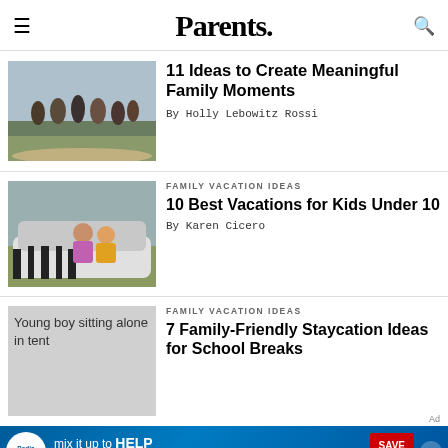Parents.
[Figure (photo): Family walking together outdoors on a path]
11 Ideas to Create Meaningful Family Moments
By Holly Lebowitz Rossi
FAMILY VACATION IDEAS
[Figure (photo): Two young girls sitting in a zebra-striped jeep on a safari ride]
10 Best Vacations for Kids Under 10
By Karen Cicero
FAMILY VACATION IDEAS
[Figure (photo): Young boy sitting alone in tent]
7 Family-Friendly Staycation Ideas for School Breaks
[Figure (infographic): PediaSure advertisement: mix it up to HELP KIDS GROW — SAVE NOW]